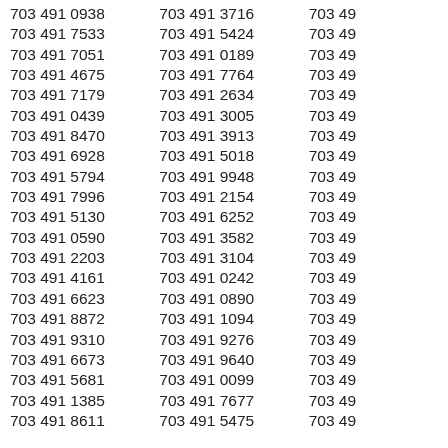703 491 0938
703 491 7533
703 491 7051
703 491 4675
703 491 7179
703 491 0439
703 491 8470
703 491 6928
703 491 5794
703 491 7996
703 491 5130
703 491 0590
703 491 2203
703 491 4161
703 491 6623
703 491 8872
703 491 9310
703 491 6673
703 491 5681
703 491 1385
703 491 8611
703 491 3716
703 491 5424
703 491 0189
703 491 7764
703 491 2634
703 491 3005
703 491 3913
703 491 5018
703 491 9948
703 491 2154
703 491 6252
703 491 3582
703 491 3104
703 491 0242
703 491 0890
703 491 1094
703 491 9276
703 491 9640
703 491 0099
703 491 7677
703 491 5475
703 491 ...
703 491 ...
703 491 ...
703 491 ...
703 491 ...
703 491 ...
703 491 ...
703 491 ...
703 491 ...
703 491 ...
703 491 ...
703 491 ...
703 491 ...
703 491 ...
703 491 ...
703 491 ...
703 491 ...
703 491 ...
703 491 ...
703 491 ...
703 491 ...